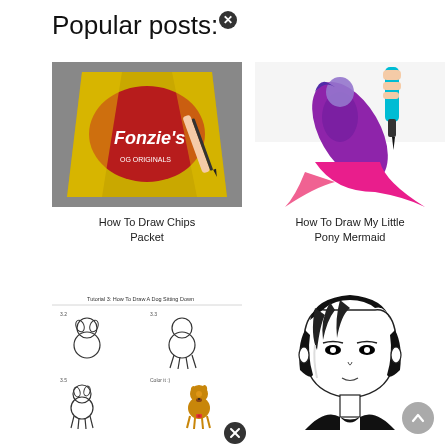Popular posts: ✕
[Figure (photo): Photorealistic drawing of a Fonzie's chips packet with a pencil, hand visible]
How To Draw Chips Packet
[Figure (photo): 3D pen drawing of a My Little Pony mermaid figure in pink and purple, hand holding a teal 3D pen]
How To Draw My Little Pony Mermaid
[Figure (illustration): Tutorial 3: How To Draw A Dog Sitting Down - step by step drawing guide with sketches and colored final dog]
[Figure (illustration): Black and white anime/manga style drawing of a male character with long hair]